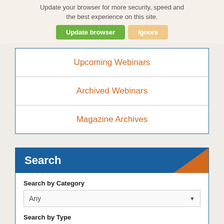Update your browser for more security, speed and the best experience on this site.
Update browser  Ignore
Online / MicroEd Courses
Course Calendar
Upcoming Webinars
Archived Webinars
Magazine Archives
Search
Search by Category
Any
Search by Type
Any